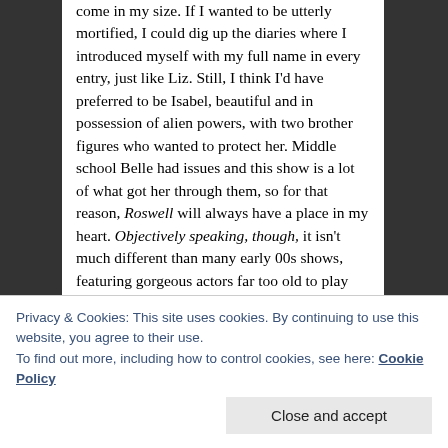come in my size. If I wanted to be utterly mortified, I could dig up the diaries where I introduced myself with my full name in every entry, just like Liz. Still, I think I'd have preferred to be Isabel, beautiful and in possession of alien powers, with two brother figures who wanted to protect her. Middle school Belle had issues and this show is a lot of what got her through them, so for that reason, Roswell will always have a place in my heart. Objectively speaking, though, it isn't much different than many early 00s shows, featuring gorgeous actors far too old to play the dramatic and angsty parts assigned. It does, however, lack the clever wit of its more iconic competitors, like Buffy the Vampire Slayer, and doesn't measure up in the sci-fi world to shows like Firefly, with a plot riddled with holes. It's unsurprising that Roswell never made it past three
Privacy & Cookies: This site uses cookies. By continuing to use this website, you agree to their use.
To find out more, including how to control cookies, see here: Cookie Policy
Close and accept
argue that this show is, overall, one of the worst in the